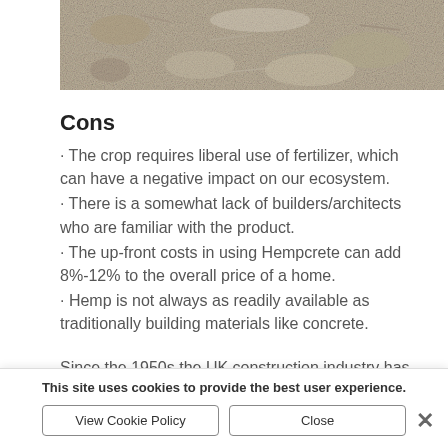[Figure (photo): Close-up photo of hempcrete or hemp-based granular material, showing a rough, granular texture of light beige/gray fibrous particles]
Cons
· The crop requires liberal use of fertilizer, which can have a negative impact on our ecosystem.
· There is a somewhat lack of builders/architects who are familiar with the product.
· The up-front costs in using Hempcrete can add 8%-12% to the overall price of a home.
· Hemp is not always as readily available as traditionally building materials like concrete.
Since the 1950s the UK construction industry has used synthetic, processed, chemical-based materials. This
This site uses cookies to provide the best user experience.
View Cookie Policy
Close